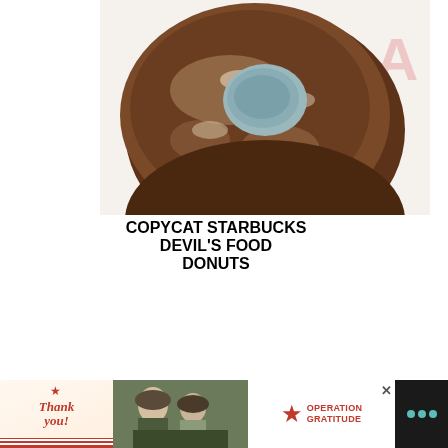[Figure (photo): Close-up photo of a chocolate glazed donut with a bluish-grey center hole, top portion cropped]
COPYCAT STARBUCKS DEVIL'S FOOD DONUTS
[Figure (photo): Close-up photo of a plain golden donut from below, blurred background]
[Figure (infographic): Advertisement banner: Thank you with American flag and pencil, soldiers image, Operation Gratitude logo, close X button, and dark sidebar with teal dots icon]